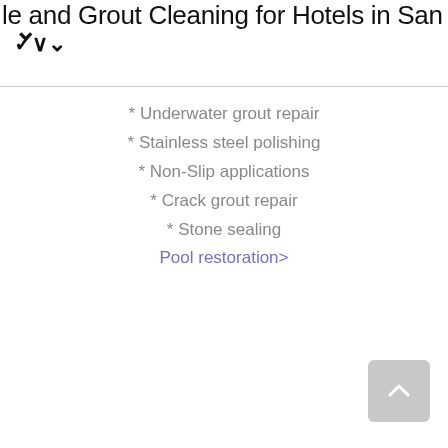le and Grout Cleaning for Hotels in San Diego
* Underwater grout repair
* Stainless steel polishing
* Non-Slip applications
* Crack grout repair
* Stone sealing
Pool restoration>